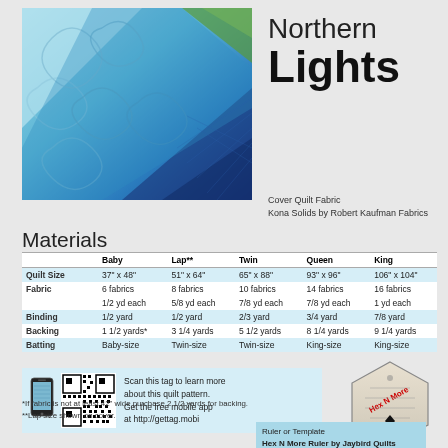[Figure (photo): Photo of a blue quilt with swirling quilting patterns in multiple shades of blue]
Northern Lights
Cover Quilt Fabric
Kona Solids by Robert Kaufman Fabrics
Materials
|  | Baby | Lap** | Twin | Queen | King |
| --- | --- | --- | --- | --- | --- |
| Quilt Size | 37" x 48" | 51" x 64" | 65" x 88" | 93" x 96" | 106" x 104" |
| Fabric | 6 fabrics | 8 fabrics | 10 fabrics | 14 fabrics | 16 fabrics |
|  | 1/2 yd each | 5/8 yd each | 7/8 yd each | 7/8 yd each | 1 yd each |
| Binding | 1/2 yard | 1/2 yard | 2/3 yard | 3/4 yard | 7/8 yard |
| Backing | 1 1/2 yards* | 3 1/4 yards | 5 1/2 yards | 8 1/4 yards | 9 1/4 yards |
| Batting | Baby-size | Twin-size | Twin-size | King-size | King-size |
Scan this tag to learn more about this quilt pattern. Get the free mobile app at http://gettag.mobi
*If fabric is not at least 42" wide purchase 2 1/2 yards for backing.
**Lap size shown on cover.
[Figure (illustration): Hex N More Ruler by Jaybird Quilts — hexagon template ruler diagram]
Ruler or Template
Hex N More Ruler by Jaybird Quilts
Without this tool, you will need one piece of template plastic 8" X 10" to